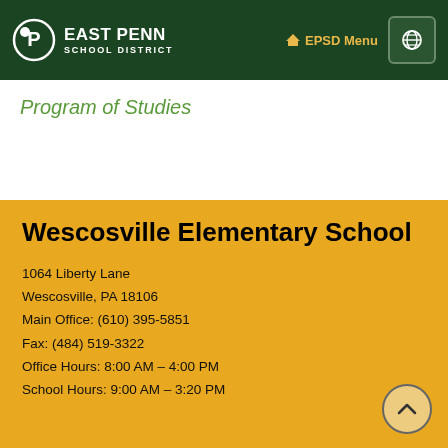East Penn School District — EPSD Menu
Program of Studies
Wescosville Elementary School
1064 Liberty Lane
Wescosville, PA 18106
Main Office: (610) 395-5851
Fax: (484) 519-3322
Office Hours: 8:00 AM – 4:00 PM
School Hours: 9:00 AM – 3:20 PM